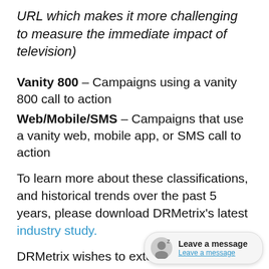URL which makes it more challenging to measure the immediate impact of television)
Vanity 800 – Campaigns using a vanity 800 call to action
Web/Mobile/SMS – Campaigns that use a vanity web, mobile app, or SMS call to action
To learn more about these classifications, and historical trends over the past 5 years, please download DRMetrix's latest industry study.
DRMetrix wishes to extend our thoughts and prayers for everyone's safety and health during these trying times. We know we will get through this together. Due to the